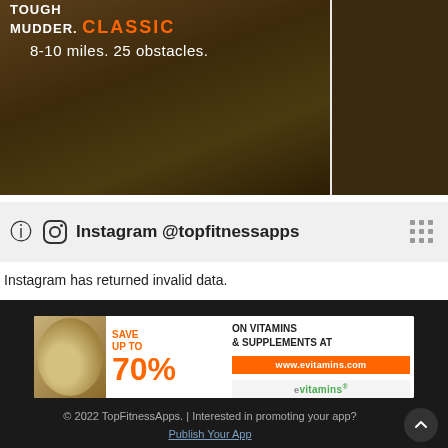[Figure (photo): Tough Mudder Classic advertisement image showing muddy terrain with text '8-10 miles. 25 obstacles.' and orange CLASSIC logo text]
Instagram @topfitnessapps
Instagram has returned invalid data.
[Figure (photo): eVitamins advertisement banner: SAVE UP TO 70% ON VITAMINS & SUPPLEMENTS AT www.evitamins.com]
© 2022 TopFitnessApps. | Interested in promoting your app? Publish Your App